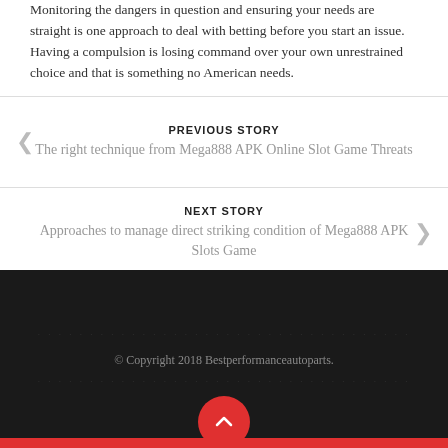Monitoring the dangers in question and ensuring your needs are straight is one approach to deal with betting before you start an issue. Having a compulsion is losing command over your own unrestrained choice and that is something no American needs.
PREVIOUS STORY
The right technique from Mega888 APK Online Slot Game Threats
NEXT STORY
Approaches to manage direct striking condition of Mega888 APK Slots Game
© Copyright 2018 Bestperformanceautoparts.